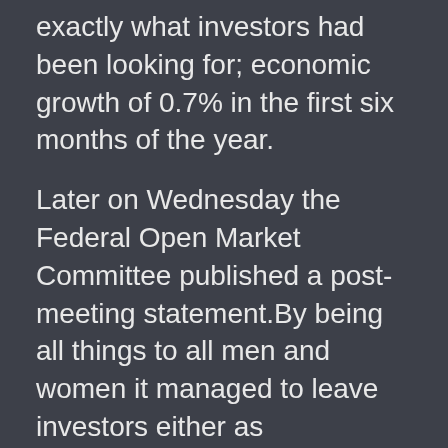exactly what investors had been looking for; economic growth of 0.7% in the first six months of the year.
Later on Wednesday the Federal Open Market Committee published a post-meeting statement.By being all things to all men and women it managed to leave investors either as enlightened or as confused as they had been before, regarding the wind-down of the Fed's money-printing stimulus effort.Like theologians arguing over a fragment of Dead Sea scroll, analysts could interpret “tapering” as soon as this September or not until next year, according